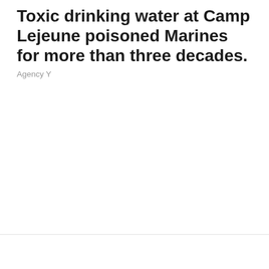Toxic drinking water at Camp Lejeune poisoned Marines for more than three decades.
Agency Y